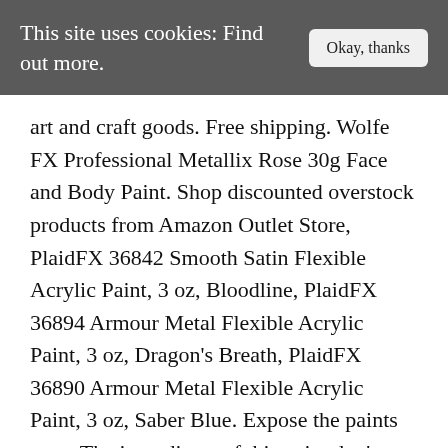This site uses cookies: Find out more.
art and craft goods. Free shipping. Wolfe FX Professional Metallix Rose 30g Face and Body Paint. Shop discounted overstock products from Amazon Outlet Store, PlaidFX 36842 Smooth Satin Flexible Acrylic Paint, 3 oz, Bloodline, PlaidFX 36894 Armour Metal Flexible Acrylic Paint, 3 oz, Dragon's Breath, PlaidFX 36890 Armour Metal Flexible Acrylic Paint, 3 oz, Saber Blue. Expose the paints to ... The ingredients of this paint don't have any side effects; The toxicity level of the glow in the dark paint is zero; You can apply the thinner glow on any surfaces;